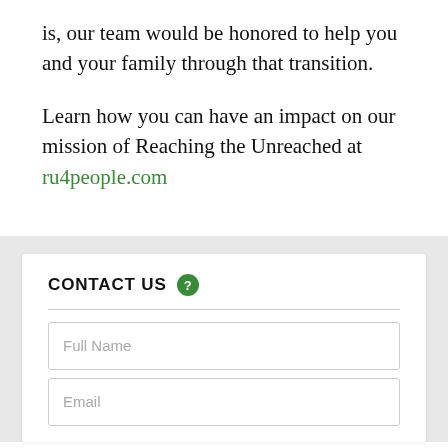is, our team would be honored to help you and your family through that transition.
Learn how you can have an impact on our mission of Reaching the Unreached at ru4people.com
CONTACT US
Full Name
Email